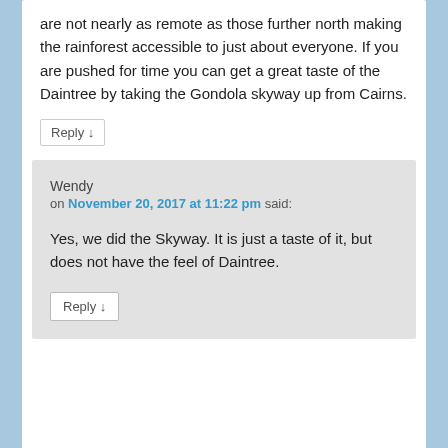are not nearly as remote as those further north making the rainforest accessible to just about everyone. If you are pushed for time you can get a great taste of the Daintree by taking the Gondola skyway up from Cairns.
Reply ↓
Wendy
on November 20, 2017 at 11:22 pm said:
Yes, we did the Skyway. It is just a taste of it, but does not have the feel of Daintree.
Reply ↓